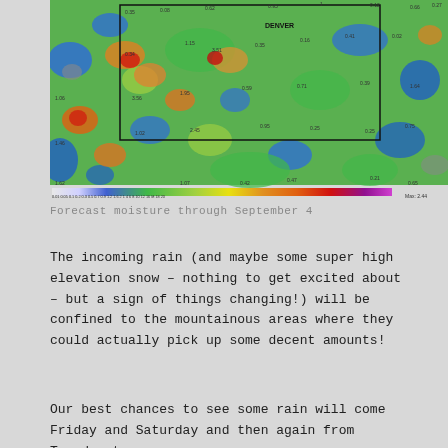[Figure (map): Weather forecast moisture map through September 4, showing a colorized precipitation/moisture map of Colorado and surrounding region including Denver. Colors range from blue (low) to green, yellow, orange, and red (high moisture values). Numerical values labeled across the map. A color scale bar at the bottom shows values from 0.01 to 20. Max: 2.44 noted at bottom right.]
Forecast moisture through September 4
The incoming rain (and maybe some super high elevation snow – nothing to get excited about – but a sign of things changing!) will be confined to the mountainous areas where they could actually pick up some decent amounts!
Our best chances to see some rain will come Friday and Saturday and then again from Tuesday to